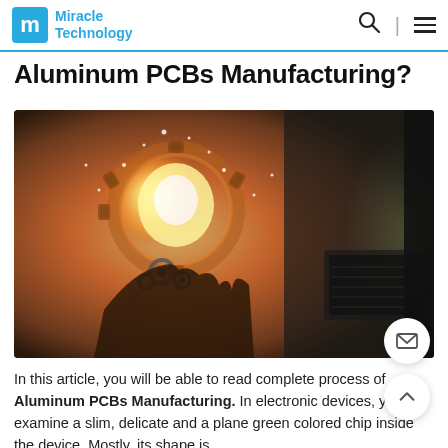Miracle Technology
Aluminum PCBs Manufacturing?
[Figure (photo): A hand holding a glowing lightbulb made of mechanical gears and electronics, with a laptop keyboard visible in the background. Warm orange and golden tones with sparkling light effects.]
In this article, you will be able to read complete process of Aluminum PCBs Manufacturing. In electronic devices, you will examine a slim, delicate and a plane green colored chip inside the device. Mostly, its shape is